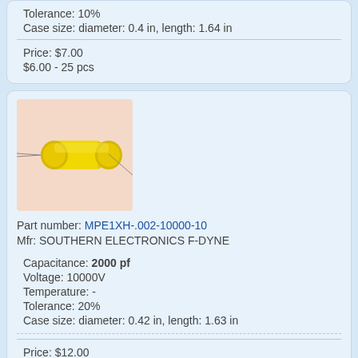Tolerance: 10%
Case size: diameter: 0.4 in, length: 1.64 in
Price: $7.00
$6.00 - 25 pcs
[Figure (photo): Yellow cylindrical capacitor component with wire leads on peach/salmon background]
Part number: MPE1XH-.002-10000-10
Mfr: SOUTHERN ELECTRONICS F-DYNE
Capacitance: 2000 pf
Voltage: 10000V
Temperature: -
Tolerance: 20%
Case size: diameter: 0.42 in, length: 1.63 in
Price: $12.00
$10.00 - 25 pcs
[Figure (photo): Yellow cylindrical capacitor component with wire leads on peach/salmon background (partial)]